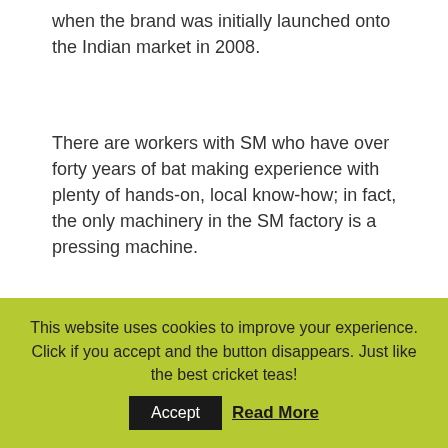when the brand was initially launched onto the Indian market in 2008.
There are workers with SM who have over forty years of bat making experience with plenty of hands-on, local know-how; in fact, the only machinery in the SM factory is a pressing machine.
It's a long way (nearly five thousand miles) between SM's operation in Meerut, in the Northern Indian province of Uttar Pradesh to the Northamptonshire County Cricket Club
This website uses cookies to improve your experience. Click if you accept and the button disappears. Just like the best cricket teas!